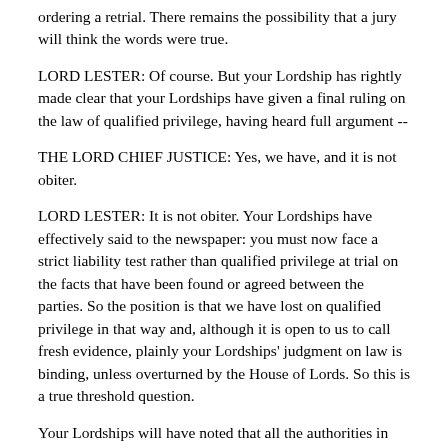ordering a retrial. There remains the possibility that a jury will think the words were true.
LORD LESTER: Of course. But your Lordship has rightly made clear that your Lordships have given a final ruling on the law of qualified privilege, having heard full argument --
THE LORD CHIEF JUSTICE: Yes, we have, and it is not obiter.
LORD LESTER: It is not obiter. Your Lordships have effectively said to the newspaper: you must now face a strict liability test rather than qualified privilege at trial on the facts that have been found or agreed between the parties. So the position is that we have lost on qualified privilege in that way and, although it is open to us to call fresh evidence, plainly your Lordships' judgment on law is binding, unless overturned by the House of Lords. So this is a true threshold question.
Your Lordships will have noted that all the authorities in your Lordships' judgment on qualified privilege -- all the recent authorities -- are of this court or lower jurisdiction. There has been no decision of the House of Lords.
LORD JUSTICE HIRST: There was a spate of them earlier on.